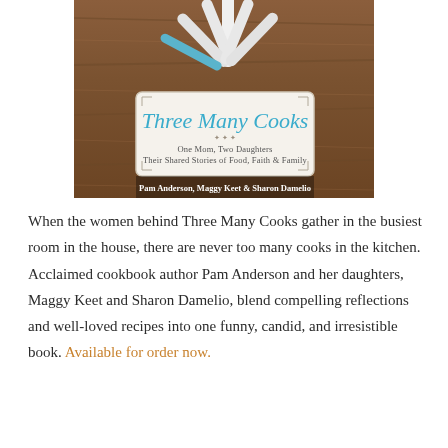[Figure (illustration): Book cover of 'Three Many Cooks' by Pam Anderson, Maggy Keet & Sharon Damelio. Shows white-handled butter knives spread fan-like on a wooden surface, with a white label-style banner reading the title in teal cursive script, subtitle 'One Mom, Two Daughters Their Shared Stories of Food, Faith & Family', and author names at the bottom.]
When the women behind Three Many Cooks gather in the busiest room in the house, there are never too many cooks in the kitchen. Acclaimed cookbook author Pam Anderson and her daughters, Maggy Keet and Sharon Damelio, blend compelling reflections and well-loved recipes into one funny, candid, and irresistible book. Available for order now.